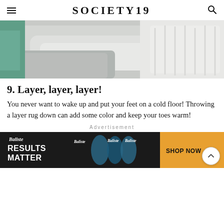SOCIETY19
[Figure (photo): Close-up photo of layered blankets and pillows in grey and white tones with a teal/green background element visible]
9. Layer, layer, layer!
You never want to wake up and put your feet on a cold floor! Throwing a layer rug down can add some color and keep your toes warm!
Advertisement
[Figure (photo): Advertisement banner for Baliste hair products reading RESULTS MATTER with SHOP NOW button]